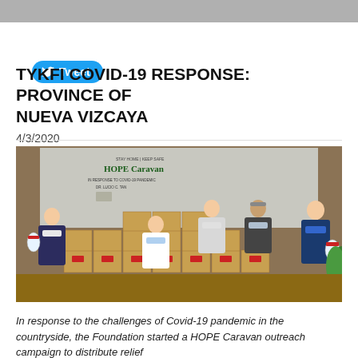[Figure (photo): Gray image strip at top of page, partial photo cropped]
[Figure (other): Twitter Tweet button with bird icon in blue]
TYKFI COVID-19 RESPONSE: PROVINCE OF NUEVA VIZCAYA
4/3/2020
[Figure (photo): Group of five people wearing face masks standing and kneeling behind stacked cardboard boxes labeled with red tags and water jugs, in front of a HOPE Caravan banner that reads 'In Response to COVID-19 Pandemic – Dr. Lucio C. Tan']
In response to the challenges of Covid-19 pandemic in the countryside, the Foundation started a HOPE Caravan outreach campaign to distribute relief